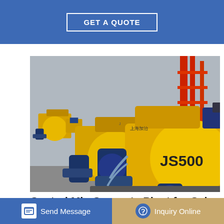GET A QUOTE
[Figure (photo): Row of yellow JS500 concrete mixer machines lined up in a manufacturing yard with red crane structures in the background]
Central Mix Concrete Plant for Sale - China Manufacturer
May 12, 2015 · Central concrete batching plants adopt JS mix dry-b... gate ar... more, due to its high working efficiency and large capacity
Send Message
Inquiry Online